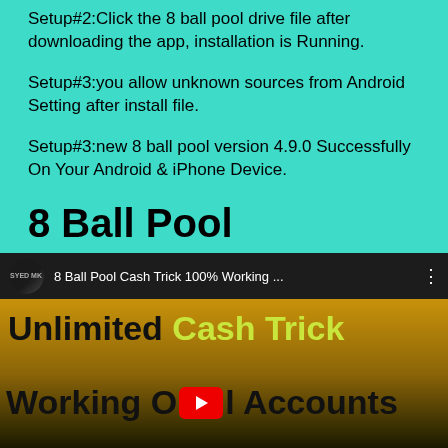Setup#2:Click the 8 ball pool drive file after downloading the app, installation is Running.
Setup#3:you allow unknown sources from Android Setting after install file.
Setup#3:new 8 ball pool version 4.9.0 Successfully On Your Android & iPhone Device.
8 Ball Pool Activation Code Free 2019
[Figure (screenshot): YouTube video thumbnail showing '8 Ball Pool Cash Trick 100% Working ...' with channel avatar 'SYED MK' and video content showing 'Unlimited Cash Trick Working O[play]l Accounts' text on a dark gold background.]